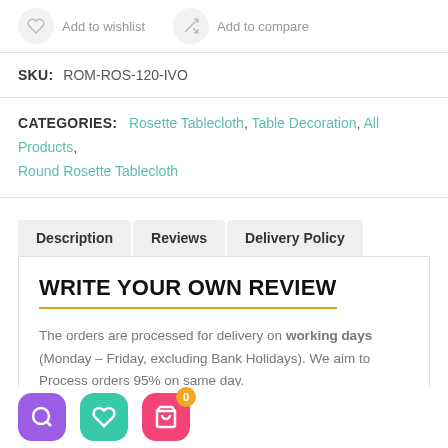Add to wishlist   Add to compare
SKU:   ROM-ROS-120-IVO
CATEGORIES:   Rosette Tablecloth, Table Decoration, All Products, Round Rosette Tablecloth
Description | Reviews | Delivery Policy
WRITE YOUR OWN REVIEW
The orders are processed for delivery on working days (Monday – Friday, excluding Bank Holidays). We aim to Process orders 95% on same day.